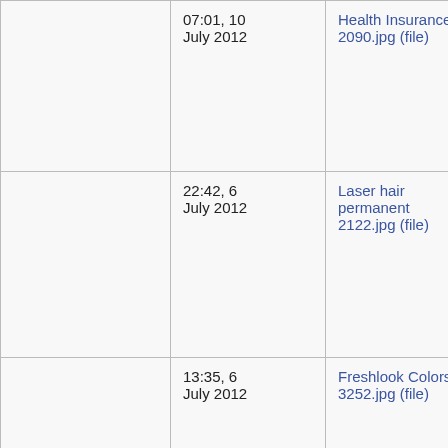|  | 07:01, 10 July 2012 | Health Insurance 2090.jpg (file) |  |
|  | 22:42, 6 July 2012 | Laser hair permanent 2122.jpg (file) |  |
|  | 13:35, 6 July 2012 | Freshlook Colors 3252.jpg (file) |  |
|  | 06:36, 6 July 2012 | Transport car cross country 4488.jpg (file) |  |
|  |  |  |  |